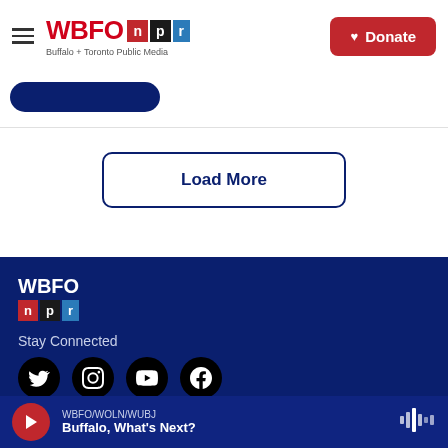WBFO npr — Buffalo + Toronto Public Media | Donate
[Figure (screenshot): Partial dark blue button stub at top left]
Load More
[Figure (logo): WBFO NPR logo in footer with red, black, blue NPR badge]
Stay Connected
[Figure (infographic): Four social media icons: Twitter, Instagram, YouTube, Facebook — black circles on dark blue background]
© 2022 Western New York Public Broadcasting Association
WBFO/WOLN/WUBJ
Buffalo, What's Next?